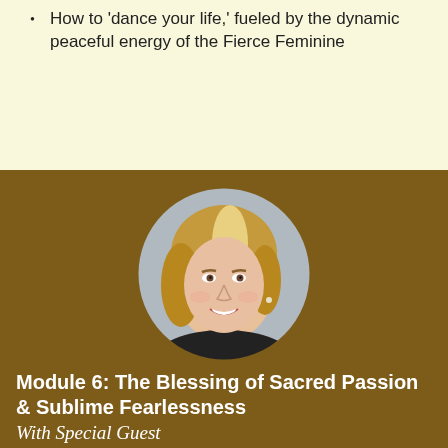How to 'dance your life,' fueled by the dynamic peaceful energy of the Fierce Feminine
[Figure (photo): Circular portrait photo of a smiling woman with blonde bob hair, wearing a gray top, professional headshot.]
Module 6: The Blessing of Sacred Passion & Sublime Fearlessness
With Special Guest Teaching: From Jill Anand